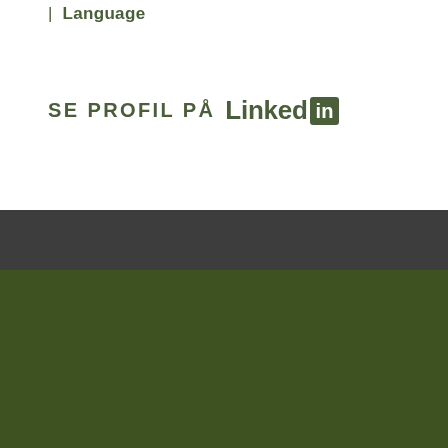| Language
SE PROFIL PÅ LinkedIn
We use cookies to give you a better experience of Kastell's website. Read more about our Cookie policy.
I UNDERSTAND →